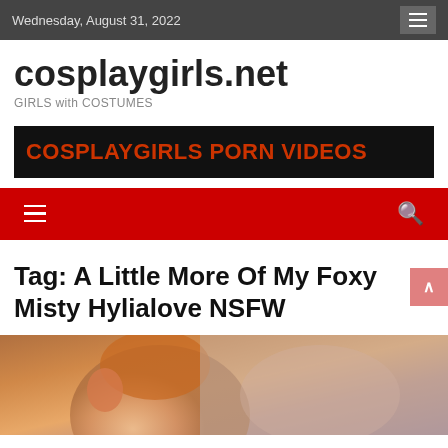Wednesday, August 31, 2022
cosplaygirls.net
GIRLS with COSTUMES
[Figure (other): Banner ad reading COSPLAYGIRLS PORN VIDEOS in red bold text on black background]
Tag: A Little More Of My Foxy Misty Hylialove NSFW
[Figure (photo): Photo of a woman dressed in a Misty cosplay costume with orange hair]